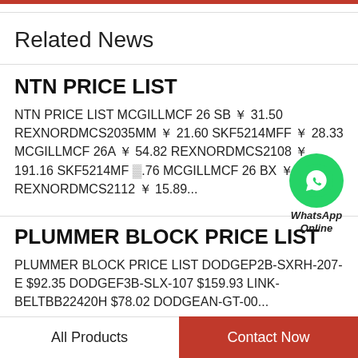Related News
NTN PRICE LIST
NTN PRICE LIST MCGILLMCF 26 SB ￥ 31.50 REXNORDMCS2035MM ￥ 21.60 SKF5214MFF ￥ 28.33 MCGILLMCF 26A ￥ 54.82 REXNORDMCS2108 ￥ 191.16 SKF5214MF ￥ .76 MCGILLMCF 26 BX ￥ 41.62 REXNORDMCS2112 ￥ 15.89...
PLUMMER BLOCK PRICE LIST
PLUMMER BLOCK PRICE LIST DODGEP2B-SXRH-207-E $92.35 DODGEF3B-SLX-107 $159.93 LINK-BELTBB22420H $78.02 DODGEAN-GT-00...
All Products    Contact Now